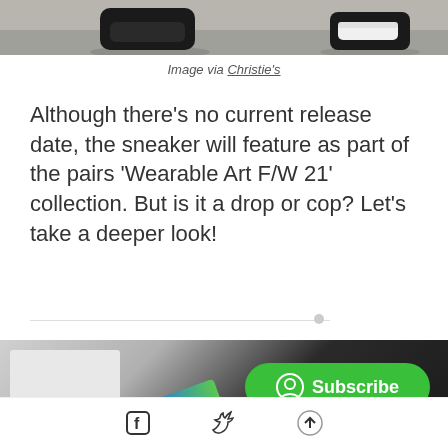[Figure (photo): Top portion of a photo showing feet/sneakers on a floor, partially cropped]
Image via Christie's
Although there's no current release date, the sneaker will feature as part of the pairs 'Wearable Art F/W 21' collection. But is it a drop or cop? Let's take a deeper look!
[Figure (photo): Bottom portion of a photo showing a person with blue/green sneakers and dark clothing, partially cropped]
[Figure (other): Subscribe button (green pill button with user icon and text 'Subscribe')]
[Figure (other): Social media icon bar with Facebook, Twitter, and up-arrow icons]